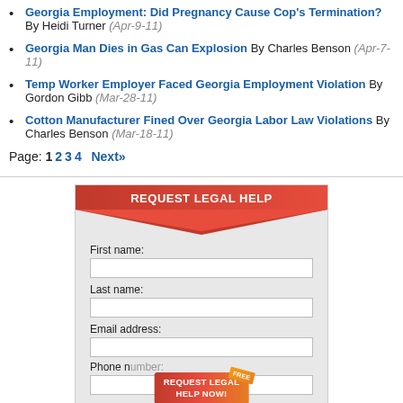Georgia Employment: Did Pregnancy Cause Cop's Termination? By Heidi Turner (Apr-9-11)
Georgia Man Dies in Gas Can Explosion By Charles Benson (Apr-7-11)
Temp Worker Employer Faced Georgia Employment Violation By Gordon Gibb (Mar-28-11)
Cotton Manufacturer Fined Over Georgia Labor Law Violations By Charles Benson (Mar-18-11)
Page: 1 2 3 4 Next»
[Figure (infographic): REQUEST LEGAL HELP form box with red header, chevron decoration, fields for First name, Last name, Email address, Phone number, and a REQUEST LEGAL HELP NOW! FREE button overlay at the bottom.]